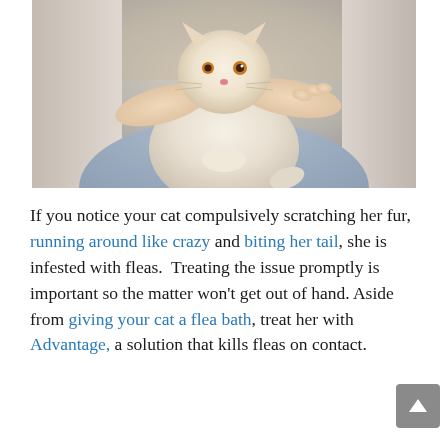[Figure (photo): A person in a white jacket and light blue jeans holding a small white/cream colored kitten up close to their chest.]
If you notice your cat compulsively scratching her fur, running around like crazy and biting her tail, she is infested with fleas.  Treating the issue promptly is important so the matter won't get out of hand. Aside from giving your cat a flea bath, treat her with Advantage, a solution that kills fleas on contact.